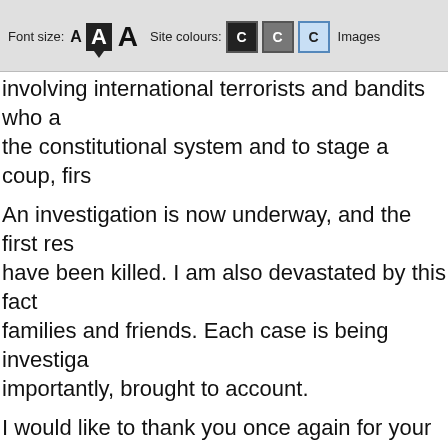Font size: A A A   Site colours: C C C   Images
involving international terrorists and bandits who a the constitutional system and to stage a coup, firs
An investigation is now underway, and the first res have been killed. I am also devastated by this fact families and friends. Each case is being investiga importantly, brought to account.
I would like to thank you once again for your warm request to deploy a peacekeeping contingent in ou a highly important role in terms of logistic support, of course, in terms of psychologically intimidating Kazakhstan as their victim.
Indeed, we are planning to exchange opinions on talks. These matters concern Kazakhstan's strate i t t ill b th d T b f